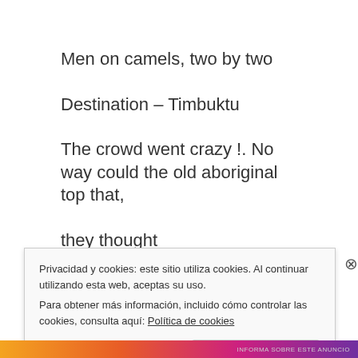Men on camels, two by two
Destination – Timbuktu
The crowd went crazy !.  No way could the old aboriginal top that,
they thought
Privacidad y cookies: este sitio utiliza cookies. Al continuar utilizando esta web, aceptas su uso.
Para obtener más información, incluido cómo controlar las cookies, consulta aquí: Política de cookies
Cerrar y aceptar